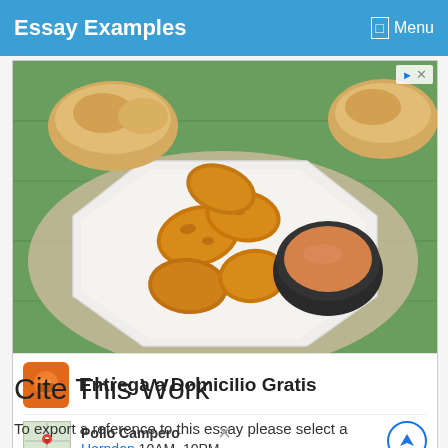Essay Examples  Menu
[Figure (photo): Advertisement showing fried chicken nuggets on a white octagonal plate with dipping sauce, and bread rolls in background on a green wooden table. Ad for Pollo Campero: 'Entrega a Domicilio Gratis', Herndon 10AM-10PM]
Cite This Work
To export a reference to this essay please select a